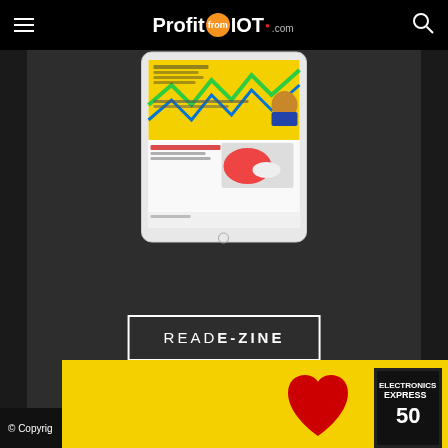ProfitfromIOT.com
[Figure (screenshot): Tablet device showing IoT e-zine magazine content with yellow background ads including electronics manufacturing content and Raspberry Pi accessories]
READ E-ZINE
© Copyrig...
[Figure (photo): Yellow banner ad with red heart shape and Electronics Express magazine cover]